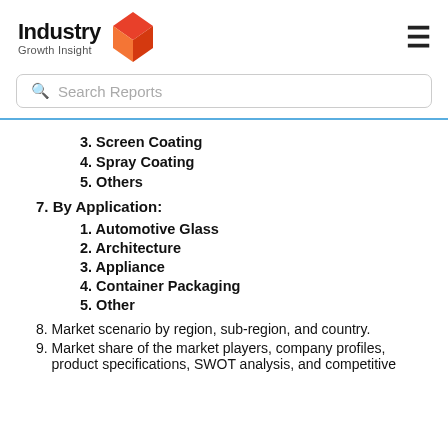Industry Growth Insight
3. Screen Coating
4. Spray Coating
5. Others
7. By Application:
1. Automotive Glass
2. Architecture
3. Appliance
4. Container Packaging
5. Other
8. Market scenario by region, sub-region, and country.
9. Market share of the market players, company profiles, product specifications, SWOT analysis, and competitive